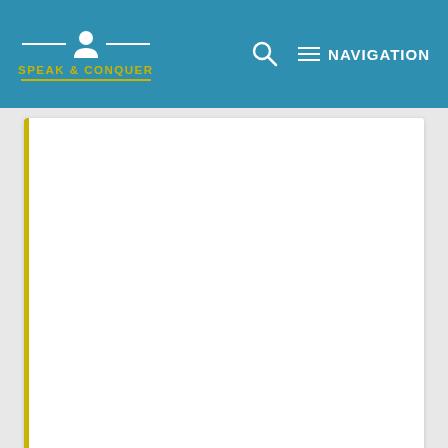SPEAK & CONQUER | NAVIGATION
[Figure (screenshot): White content card area with a 'Read more »' button at the bottom center, with a yellow left border accent]
Read more »
[Figure (screenshot): Second white content card with yellow left border accent, partially visible at bottom of page]